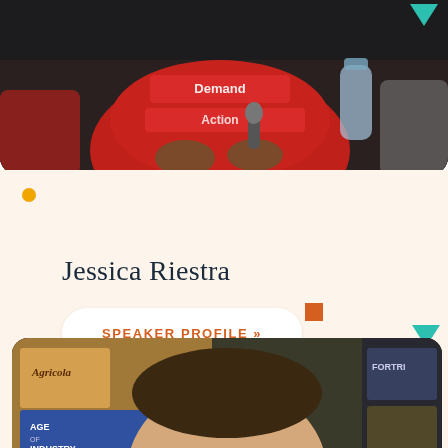[Figure (photo): Photo of a person in a red 'Students Demand Action' t-shirt, sitting and holding a microphone, with a water bottle visible in the background.]
Jessica Riestra
SPEAKER PROFILE »
[Figure (photo): Photo of a bearded man with glasses smiling, surrounded by board games on shelves including Agricola, Age of Industry, Le Havre, and Fortress (partially visible).]